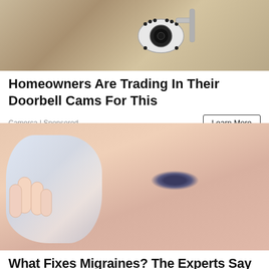[Figure (photo): Close-up photo of a security camera mounted on a textured wall]
Homeowners Are Trading In Their Doorbell Cams For This
Camerca | Sponsored
[Figure (photo): Close-up photo of a person holding an ice cube against their face near their eye]
What Fixes Migraines? The Experts Say This